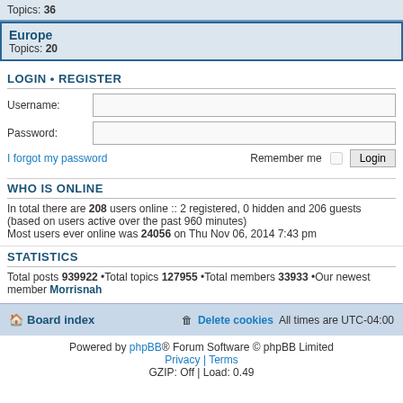Topics: 36
Europe
Topics: 20
LOGIN • REGISTER
Username:
Password:
I forgot my password
Remember me
WHO IS ONLINE
In total there are 208 users online :: 2 registered, 0 hidden and 206 guests (based on users active over the past 960 minutes)
Most users ever online was 24056 on Thu Nov 06, 2014 7:43 pm
STATISTICS
Total posts 939922 •Total topics 127955 •Total members 33933 •Our newest member Morrisnah
Board index   Delete cookies   All times are UTC-04:00
Powered by phpBB® Forum Software © phpBB Limited
Privacy | Terms
GZIP: Off | Load: 0.49